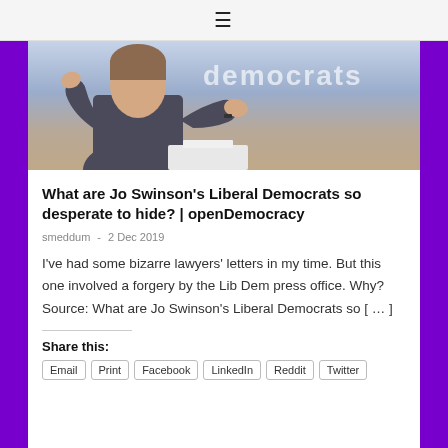≡
[Figure (photo): A woman speaking at what appears to be a Liberal Democrats event, with 'democrats' visible in the background signage. She is gesturing with both hands.]
What are Jo Swinson's Liberal Democrats so desperate to hide? | openDemocracy
smeddum  -  2 Dec 2019
I've had some bizarre lawyers' letters in my time. But this one involved a forgery by the Lib Dem press office. Why? Source: What are Jo Swinson's Liberal Democrats so [ … ]
Share this:
Email
Print
Facebook
LinkedIn
Reddit
Twitter